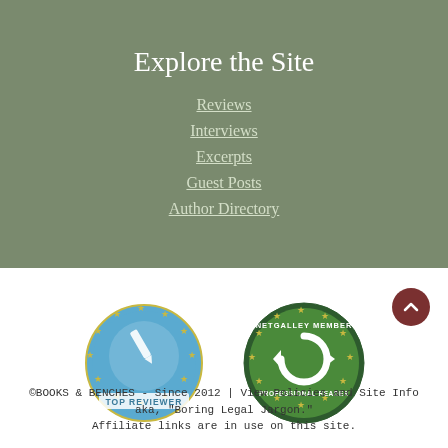Explore the Site
Reviews
Interviews
Excerpts
Guest Posts
Author Directory
[Figure (logo): Top Reviewer badge — blue circular badge with star border and pencil/pen icon, text TOP REVIEWER at bottom]
[Figure (logo): NetGalley Member Professional Reader badge — green circular badge with arrow/book icon and star border]
©BOOKS & BENCHES - Since 2012 | View Policies and Site Info aka, "Boring Legal Jargon."
Affiliate links are in use on this site.